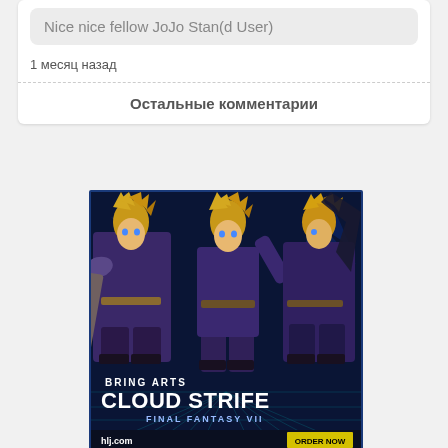Nice nice fellow JoJo Stan(d User)
1 месяц назад
Остальные комментарии
[Figure (illustration): Advertisement image for 'Bring Arts Cloud Strife Final Fantasy VII' action figures from hlj.com. Shows three Cloud Strife figures in dark purple outfits against a dark blue background with teal grid lines. Text reads: BRING ARTS, CLOUD STRIFE, FINAL FANTASY VII, hlj.com, ORDER NOW.]